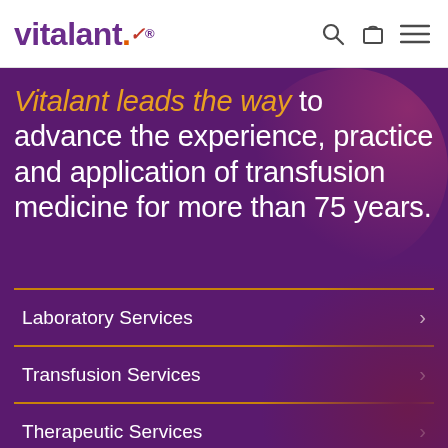vitalant® [logo with search, cart, and menu icons]
Vitalant leads the way to advance the experience, practice and application of transfusion medicine for more than 75 years.
Laboratory Services >
Transfusion Services >
Therapeutic Services >